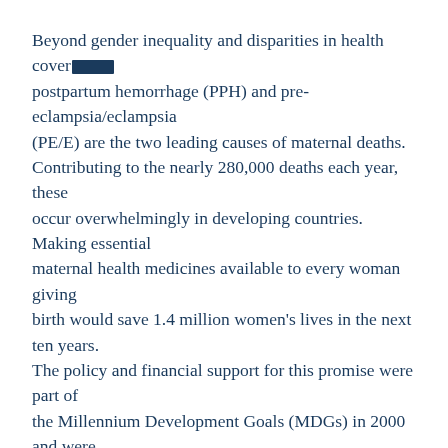Beyond gender inequality and disparities in health coverage, postpartum hemorrhage (PPH) and pre-eclampsia/eclampsia (PE/E) are the two leading causes of maternal deaths. Contributing to the nearly 280,000 deaths each year, these occur overwhelmingly in developing countries. Making essential maternal health medicines available to every woman giving birth would save 1.4 million women's lives in the next ten years. The policy and financial support for this promise were part of the Millennium Development Goals (MDGs) in 2000 and were strengthened in the recently approved Sustainable Development Goals (SDGs). What we know, however, is that to achieve universal coverage of maternal health services, we cannot rely on traditional, inadequate solutions.
Ten years ago, family planning services that were critical in reducing the number of maternal deaths under the MDGs faced the same constraints. But financing mechanisms, supply chains, and distribution networks are stronger, and the